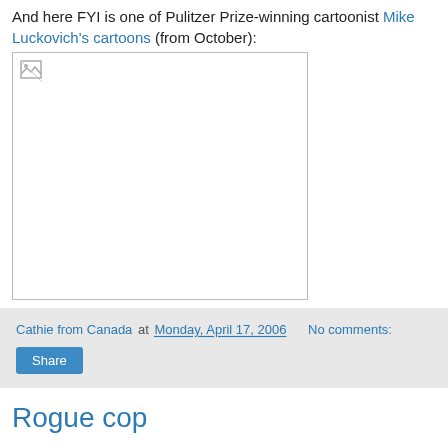And here FYI is one of Pulitzer Prize-winning cartoonist Mike Luckovich's cartoons (from October):
[Figure (illustration): A broken/missing image placeholder showing a small broken image icon in the top-left corner of a bordered white box.]
Cathie from Canada at Monday, April 17, 2006   No comments:
Share
Rogue cop